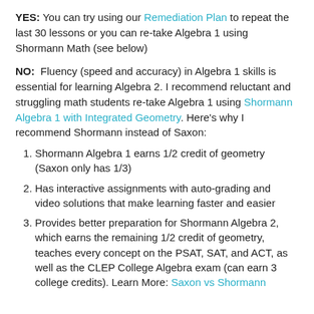YES: You can try using our Remediation Plan to repeat the last 30 lessons or you can re-take Algebra 1 using Shormann Math (see below)
NO: Fluency (speed and accuracy) in Algebra 1 skills is essential for learning Algebra 2. I recommend reluctant and struggling math students re-take Algebra 1 using Shormann Algebra 1 with Integrated Geometry. Here's why I recommend Shormann instead of Saxon:
Shormann Algebra 1 earns 1/2 credit of geometry (Saxon only has 1/3)
Has interactive assignments with auto-grading and video solutions that make learning faster and easier
Provides better preparation for Shormann Algebra 2, which earns the remaining 1/2 credit of geometry, teaches every concept on the PSAT, SAT, and ACT, as well as the CLEP College Algebra exam (can earn 3 college credits). Learn More: Saxon vs Shormann